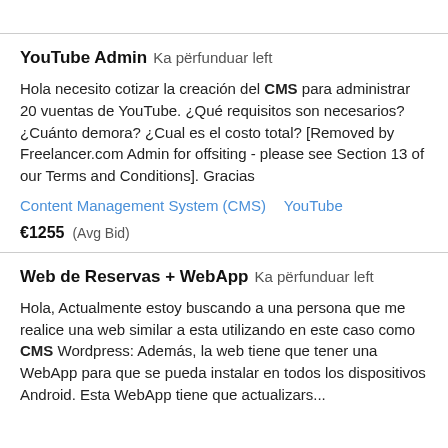(truncated top text)
YouTube Admin  Ka përfunduar left
Hola necesito cotizar la creación del CMS para administrar 20 vuentas de YouTube. ¿Qué requisitos son necesarios? ¿Cuánto demora? ¿Cual es el costo total? [Removed by Freelancer.com Admin for offsiting - please see Section 13 of our Terms and Conditions]. Gracias
Content Management System (CMS)   YouTube
€1255  (Avg Bid)
Web de Reservas + WebApp  Ka përfunduar left
Hola, Actualmente estoy buscando a una persona que me realice una web similar a esta utilizando en este caso como CMS Wordpress: Además, la web tiene que tener una WebApp para que se pueda instalar en todos los dispositivos Android. Esta WebApp tiene que actualizars...